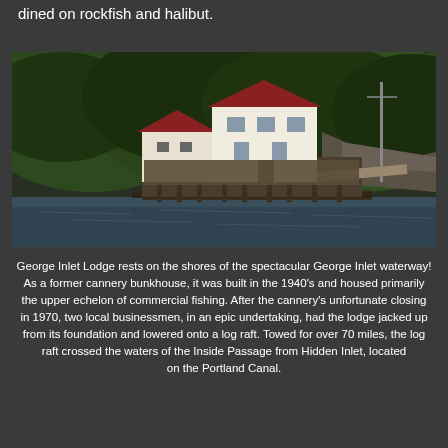dined on rockfish and halibut.
[Figure (photo): Photo of George Inlet Lodge, a white two-story building on stilts over the water with a dock, surrounded by dense green forested hills, viewed from the water.]
George Inlet Lodge rests on the shores of the spectacular George Inlet waterway! As a former cannery bunkhouse, it was built in the 1940's and housed primarily the upper echelon of commercial fishing. After the cannery's unfortunate closing in 1970, two local businessmen, in an epic undertaking, had the lodge jacked up from its foundation and lowered onto a log raft. Towed for over 70 miles, the log raft crossed the waters of the Inside Passage from Hidden Inlet, located on the Portland Canal.